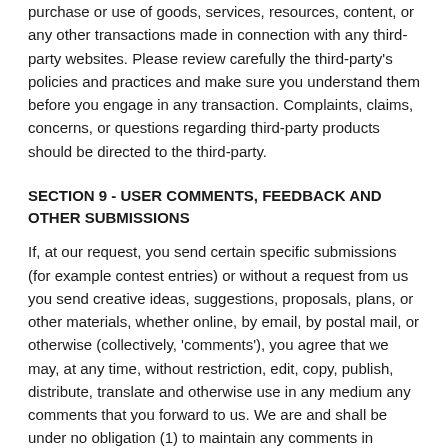purchase or use of goods, services, resources, content, or any other transactions made in connection with any third-party websites. Please review carefully the third-party's policies and practices and make sure you understand them before you engage in any transaction. Complaints, claims, concerns, or questions regarding third-party products should be directed to the third-party.
SECTION 9 - USER COMMENTS, FEEDBACK AND OTHER SUBMISSIONS
If, at our request, you send certain specific submissions (for example contest entries) or without a request from us you send creative ideas, suggestions, proposals, plans, or other materials, whether online, by email, by postal mail, or otherwise (collectively, 'comments'), you agree that we may, at any time, without restriction, edit, copy, publish, distribute, translate and otherwise use in any medium any comments that you forward to us. We are and shall be under no obligation (1) to maintain any comments in confidence; (2) to pay compensation for any comments; or (3) to respond to any comments.